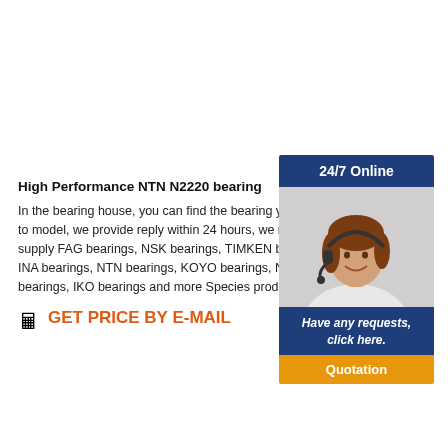High Performance NTN N2220 bearing
In the bearing house, you can find the bearing you want to model, we provide reply within 24 hours, we mainly supply FAG bearings, NSK bearings, TIMKEN bearings, INA bearings, NTN bearings, KOYO bearings, NACHI bearings, IKO bearings and more Species products.
[Figure (photo): Customer service representative wearing a headset, smiling. Widget with '24/7 Online' header bar, photo, 'Have any requests, click here.' blue bar, and orange 'Quotation' button.]
🖩 GET PRICE BY E-MAIL